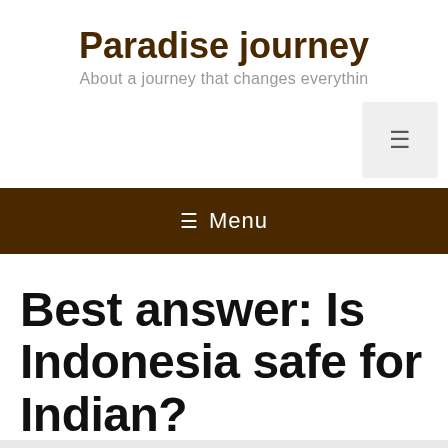Paradise journey
About a journey that changes everything
Best answer: Is Indonesia safe for Indian?